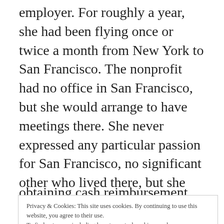employer. For roughly a year, she had been flying once or twice a month from New York to San Francisco. The nonprofit had no office in San Francisco, but she would arrange to have meetings there. She never expressed any particular passion for San Francisco, no significant other who lived there, but she relished in the 2,500 frequent flyer miles she would accrue for each flight.
Privacy & Cookies: This site uses cookies. By continuing to use this website, you agree to their use.
To find out more, including how to control cookies, see here: Cookie Policy
Close and accept
obtaining cash reimbursement from her